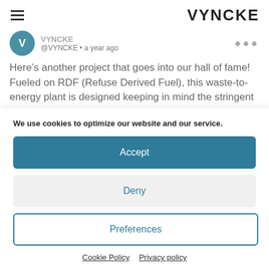VYNCKE
@VYNCKE • a year ago
Here’s another project that goes into our hall of fame! Fueled on RDF (Refuse Derived Fuel), this waste-to-energy plant is designed keeping in mind the stringent BREF guidelines. In its full operation, the turnkey solution is designed to supply heat to approximately 2500 homes in
We use cookies to optimize our website and our service.
Accept
Deny
Preferences
Cookie Policy   Privacy policy